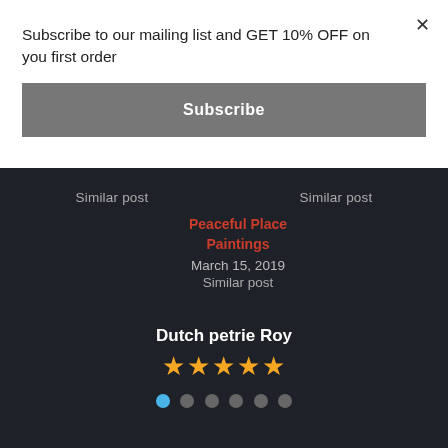Subscribe to our mailing list and GET 10% OFF on you first order
Subscribe
Similar post
Similar post
Peaceful Place Paintings
March 15, 2019
Similar post
Dutch petrie Roy
[Figure (other): Five gold stars rating display for Dutch petrie Roy]
[Figure (other): Pagination dots: first dot active (blue), five dots inactive (gray)]